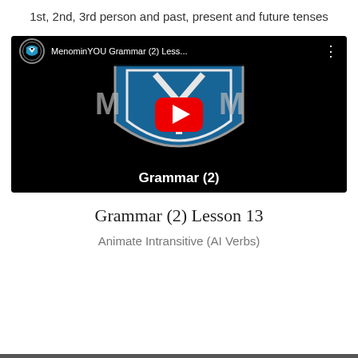1st, 2nd, 3rd person and past, present and future tenses
[Figure (screenshot): YouTube video thumbnail for MenominYOU Grammar (2) Lesson showing the MYO shield logo on a black background with a red YouTube play button, and 'Grammar (2)' text at the bottom of the video player.]
Grammar (2) Lesson 13
Animate Intransitive (AI Verbs)